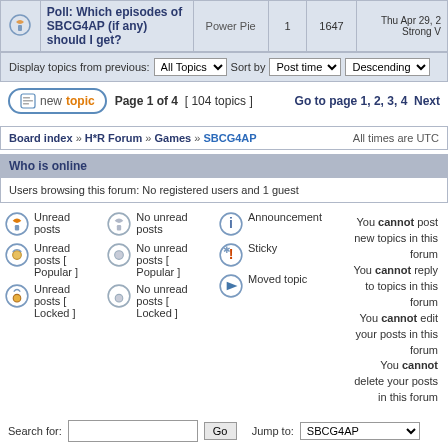|  | Topic | Author | Replies | Views | Last post |
| --- | --- | --- | --- | --- | --- |
| [poll icon] | Poll: Which episodes of SBCG4AP (if any) should I get? | Power Pie | 1 | 1647 | Thu Apr 29, 2... Strong V... |
Display topics from previous: All Topics  Sort by Post time  Descending
new topic  Page 1 of 4 [ 104 topics ]  Go to page 1, 2, 3, 4  Next
Board index » H*R Forum » Games » SBCG4AP  All times are UTC
Who is online
Users browsing this forum: No registered users and 1 guest
Unread posts | No unread posts | Announcement | You cannot post new topics in this forum
Unread posts [ Popular ] | No unread posts [ Popular ] | Sticky | You cannot reply to topics in this forum
Unread posts [ Locked ] | No unread posts [ Locked ] | Moved topic | You cannot edit your posts in this forum
You cannot delete your posts in this forum
Search for:  [input]  Go  Jump to: SBCG4AP  Go
Powered by phpBB © 2000, 2002, 2005, 2007 phpBB Group